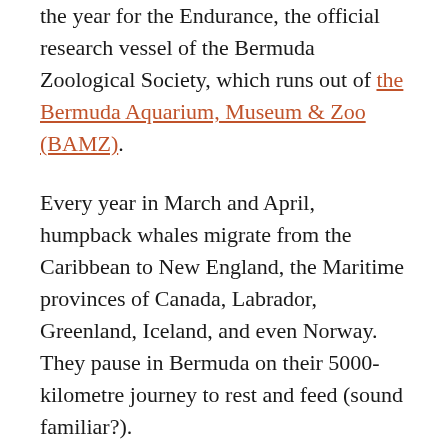the year for the Endurance, the official research vessel of the Bermuda Zoological Society, which runs out of the Bermuda Aquarium, Museum & Zoo (BAMZ).
Every year in March and April, humpback whales migrate from the Caribbean to New England, the Maritime provinces of Canada, Labrador, Greenland, Iceland, and even Norway. They pause in Bermuda on their 5000-kilometre journey to rest and feed (sound familiar?).
We were fortunate to be joined by Lynne, a biologist from BAMZ and, at the last